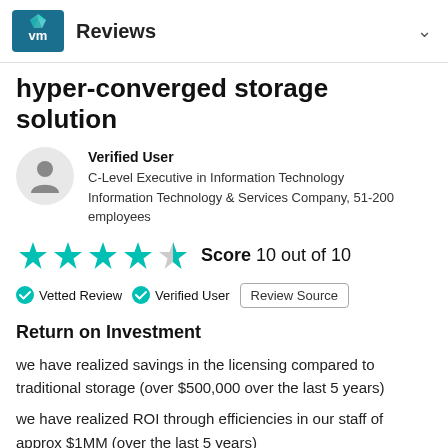Reviews
hyper-converged storage solution
Verified User
C-Level Executive in Information Technology
Information Technology & Services Company, 51-200 employees
Score 10 out of 10
Vetted Review   Verified User   Review Source
Return on Investment
we have realized savings in the licensing compared to traditional storage (over $500,000 over the last 5 years)
we have realized ROI through efficiencies in our staff of approx $1MM (over the last 5 years)
also, positive impact on the time to value/speed of